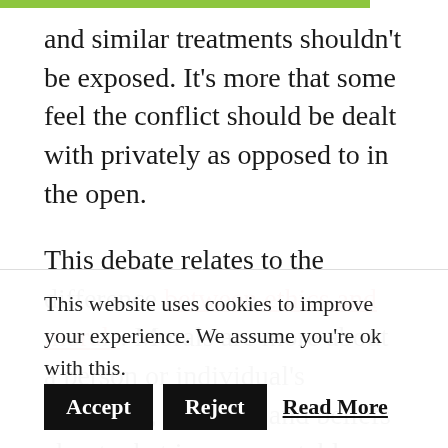and similar treatments shouldn't be exposed. It's more that some feel the conflict should be dealt with privately as opposed to in the open.
This debate relates to the difference between ethics and morals. Morals are more about a person or individual's standards, behavior and beliefs about what is an acceptable action or decision for them in their particular situation or life.
Ethics, on the other hand, are moral principles, yes, but they govern a person's behavior most
This website uses cookies to improve your experience. We assume you're ok with this. Accept Reject Read More